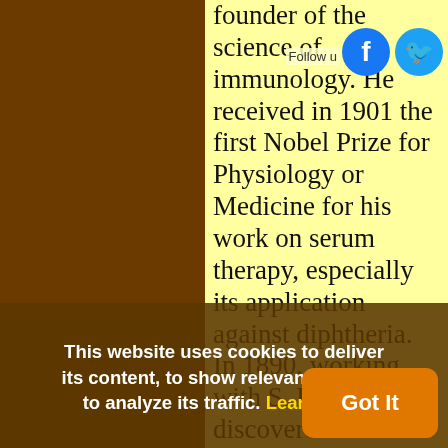founder of the science of immunology. He received in 1901 the first Nobel Prize for Physiology or Medicine for his work on serum therapy, especially its application against diphtheria. In 1890, working with S. Kitasato, he discovered that immunity against tetanus and diphtheria could be produced by injecting serum from an animal that had
This website uses cookies to deliver its content, to show relevant ads and to analyze its traffic. Learn More